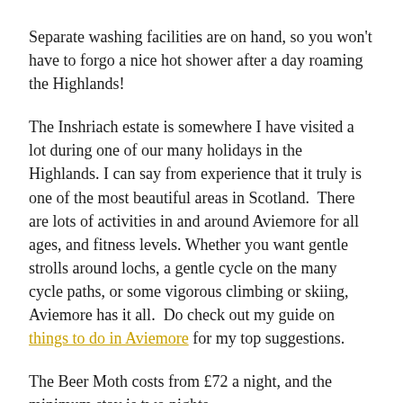Separate washing facilities are on hand, so you won't have to forgo a nice hot shower after a day roaming the Highlands!
The Inshriach estate is somewhere I have visited a lot during one of our many holidays in the Highlands. I can say from experience that it truly is one of the most beautiful areas in Scotland.  There are lots of activities in and around Aviemore for all ages, and fitness levels. Whether you want gentle strolls around lochs, a gentle cycle on the many cycle paths, or some vigorous climbing or skiing, Aviemore has it all.  Do check out my guide on things to do in Aviemore for my top suggestions.
The Beer Moth costs from £72 a night, and the minimum stay is two nights.